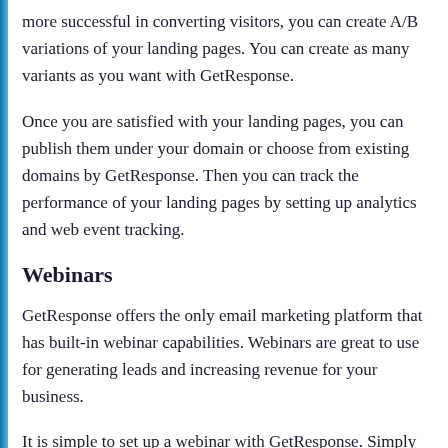more successful in converting visitors, you can create A/B variations of your landing pages. You can create as many variants as you want with GetResponse.
Once you are satisfied with your landing pages, you can publish them under your domain or choose from existing domains by GetResponse. Then you can track the performance of your landing pages by setting up analytics and web event tracking.
Webinars
GetResponse offers the only email marketing platform that has built-in webinar capabilities. Webinars are great to use for generating leads and increasing revenue for your business.
It is simple to set up a webinar with GetResponse. Simply set up the details such as your title, the webinar page URL, time,